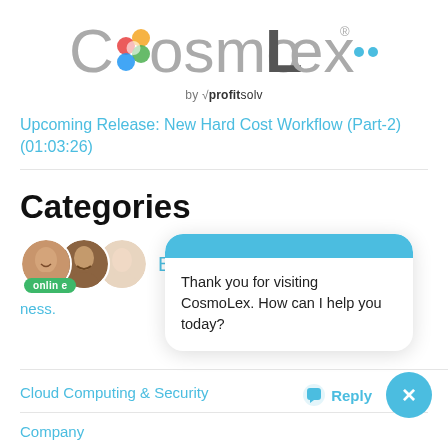[Figure (logo): CosmoLex logo with colorful flower icon, 'by profitsolv' tagline, and three blue dot menu icon]
Upcoming Release: New Hard Cost Workflow (Part-2) (01:03:26)
Categories
[Figure (photo): Three overlapping circular avatar photos of people with 'online' green badge and chat bubble overlay saying 'Thank you for visiting CosmoLex. How can I help you today?' with blue header bar, Reply button, and close X button]
Cloud Computing & Security
Company